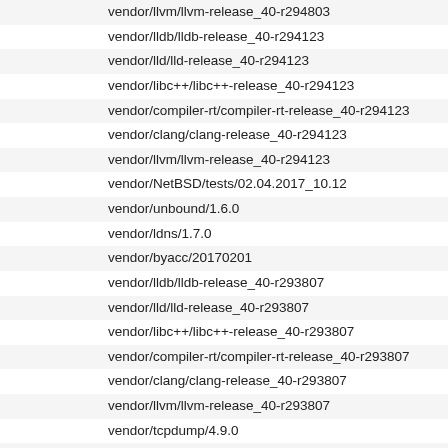vendor/llvm/llvm-release_40-r294803
vendor/lldb/lldb-release_40-r294123
vendor/lld/lld-release_40-r294123
vendor/libc++/libc++-release_40-r294123
vendor/compiler-rt/compiler-rt-release_40-r294123
vendor/clang/clang-release_40-r294123
vendor/llvm/llvm-release_40-r294123
vendor/NetBSD/tests/02.04.2017_10.12
vendor/unbound/1.6.0
vendor/ldns/1.7.0
vendor/byacc/20170201
vendor/lldb/lldb-release_40-r293807
vendor/lld/lld-release_40-r293807
vendor/libc++/libc++-release_40-r293807
vendor/compiler-rt/compiler-rt-release_40-r293807
vendor/clang/clang-release_40-r293807
vendor/llvm/llvm-release_40-r293807
vendor/tcpdump/4.9.0
vendor/openssh/7.4p1
vendor/openssh/7.3p1
vendor/NetBSD/libedit/2016-03-21
vendor/openresolv/3.9.0
vendor/lldb/lldb-release_40-r293443
vendor/lld/lld-release_40-r293443
vendor/libc++/libc++-release_40-r293443